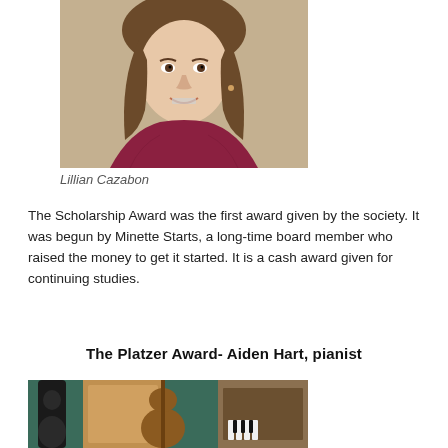[Figure (photo): Portrait photo of a young woman with long brown hair, smiling, wearing a dark red/maroon knit sweater, photographed against a warm tan/beige background.]
Lillian Cazabon
The Scholarship Award was the first award given by the society. It was begun by Minette Starts, a long-time board member who raised the money to get it started. It is a cash award given for continuing studies.
The Platzer Award- Aiden Hart, pianist
[Figure (photo): Photo showing musical instruments including guitars against a teal/green background, partially visible at bottom of page.]